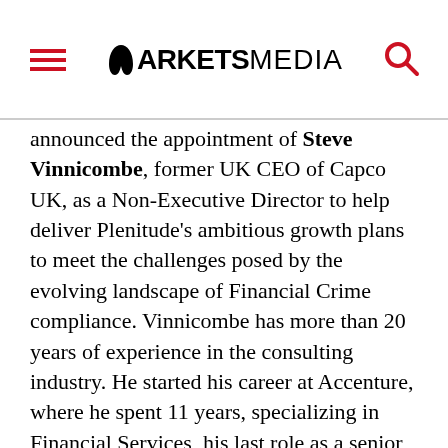MARKETS MEDIA
announced the appointment of Steve Vinnicombe, former UK CEO of Capco UK, as a Non-Executive Director to help deliver Plenitude's ambitious growth plans to meet the challenges posed by the evolving landscape of Financial Crime compliance. Vinnicombe has more than 20 years of experience in the consulting industry. He started his career at Accenture, where he spent 11 years, specializing in Financial Services, his last role as a senior executive in